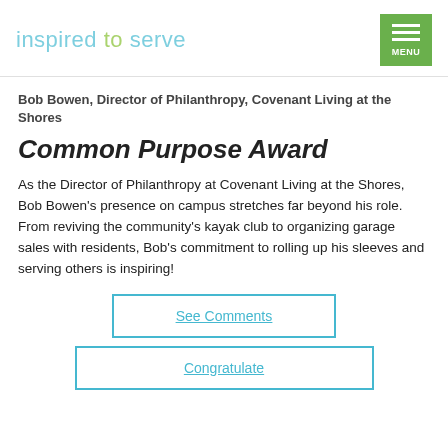inspired to serve | MENU
Bob Bowen, Director of Philanthropy, Covenant Living at the Shores
Common Purpose Award
As the Director of Philanthropy at Covenant Living at the Shores, Bob Bowen's presence on campus stretches far beyond his role. From reviving the community's kayak club to organizing garage sales with residents, Bob's commitment to rolling up his sleeves and serving others is inspiring!
See Comments
Congratulate